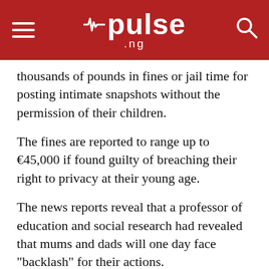pulse.ng
thousands of pounds in fines or jail time for posting intimate snapshots without the permission of their children.
The fines are reported to range up to €45,000 if found guilty of breaching their right to privacy at their young age.
The news reports reveal that a professor of education and social research had revealed that mums and dads will one day face "backlash" for their actions.
The professor identified as, Nicola Whitton from Manchester Metropolitan University tells The Guardian:
"I think we're going to get a backlash in years to come from young people coming to realise that they've had their whole lives, from the day they were born, available to